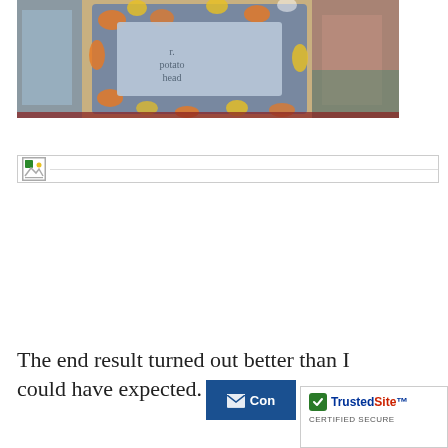[Figure (photo): Photo of a decorative picture frame with colorful paisley fabric border in orange, teal, and white. The frame sits on a surface, with text visible inside reading 'potato head'. Other objects visible in the background.]
[Figure (photo): Broken/unloaded image placeholder showing a small broken image icon with a green corner element, followed by a horizontal line extending across the page.]
The end result turned out better than I could have expected. It is brig